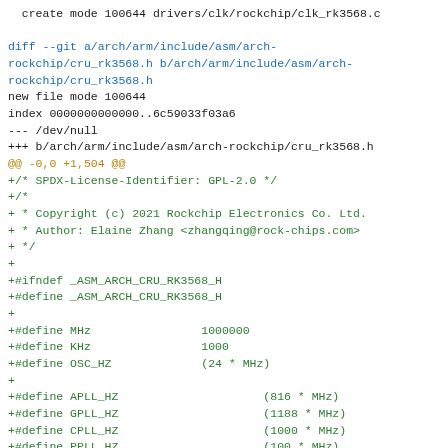create mode 100644 drivers/clk/rockchip/clk_rk3568.c

diff --git a/arch/arm/include/asm/arch-rockchip/cru_rk3568.h b/arch/arm/include/asm/arch-rockchip/cru_rk3568.h
new file mode 100644
index 0000000000000..6c59033f03a6
--- /dev/null
+++ b/arch/arm/include/asm/arch-rockchip/cru_rk3568.h
@@ -0,0 +1,504 @@
+/* SPDX-License-Identifier: GPL-2.0 */
+/*
+ * Copyright (c) 2021 Rockchip Electronics Co. Ltd.
+ * Author: Elaine Zhang <zhangqing@rock-chips.com>
+ */
+
+#ifndef _ASM_ARCH_CRU_RK3568_H
+#define _ASM_ARCH_CRU_RK3568_H
+
+#define MHz                1000000
+#define KHz                1000
+#define OSC_HZ             (24 * MHz)
+
+#define APLL_HZ                     (816 * MHz)
+#define GPLL_HZ                     (1188 * MHz)
+#define CPLL_HZ                     (1000 * MHz)
+#define PPLL_HZ                     (100 * MHz)
+
+/* RK3568 pll id */
+enum rk3568_pll_id {